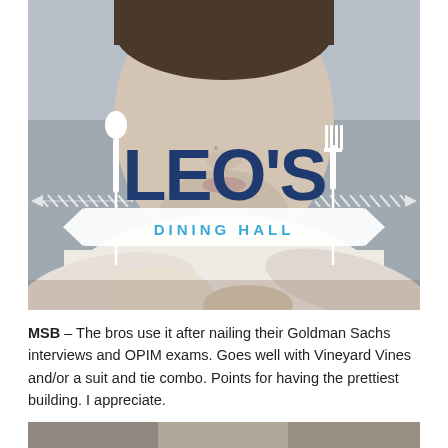[Figure (photo): A young man in a white shirt leaning over a dining table with food/drink in front of him. Overlaid on the photo is the Leo's Dining Hall logo featuring large bold dark blue text 'LEO'S', a white spoon icon on the left, a white fork icon on the right, diagonal stripe decorations, and a white banner below reading 'DINING HALL' in blue spaced letters.]
MSB – The bros use it after nailing their Goldman Sachs interviews and OPIM exams. Goes well with Vineyard Vines and/or a suit and tie combo. Points for having the prettiest building. I appreciate.
[Figure (photo): Partial view of another photo at the bottom of the page, cropped.]